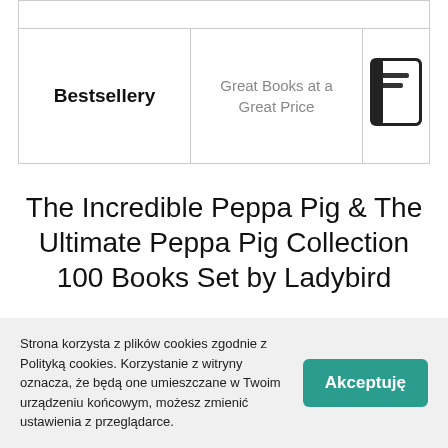[Figure (logo): Bestsellery bookstore banner with logo icon showing a book, tagline 'Great Books at a Great Price']
The Incredible Peppa Pig & The Ultimate Peppa Pig Collection 100 Books Set by Ladybird
Strona korzysta z plików cookies zgodnie z Polityką cookies. Korzystanie z witryny oznacza, że będą one umieszczane w Twoim urządzeniu końcowym, możesz zmienić ustawienia z przeglądarce.